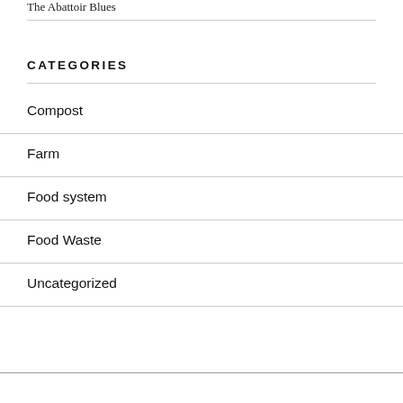The Abattoir Blues
CATEGORIES
Compost
Farm
Food system
Food Waste
Uncategorized